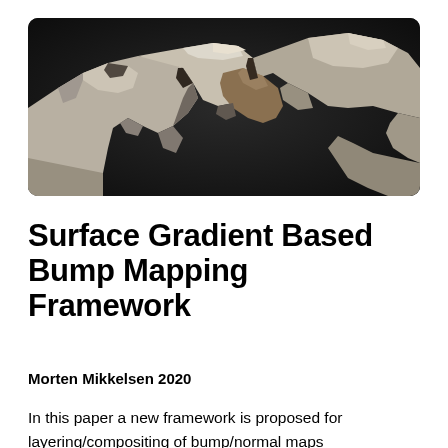[Figure (photo): Photograph of rough stone/rock formations with craggy surfaces and natural textures, set against a dark background.]
Surface Gradient Based Bump Mapping Framework
Morten Mikkelsen 2020
In this paper a new framework is proposed for layering/compositing of bump/normal maps